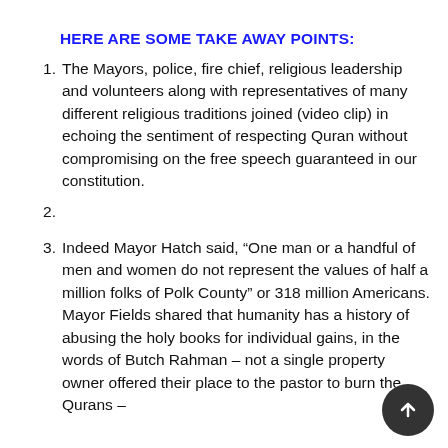HERE ARE SOME TAKE AWAY POINTS:
The Mayors, police, fire chief, religious leadership and volunteers along with representatives of many different religious traditions joined (video clip) in echoing the sentiment of respecting Quran without compromising on the free speech guaranteed in our constitution.
Indeed Mayor Hatch said, “One man or a handful of men and women do not represent the values of half a million folks of Polk County” or 318 million Americans. Mayor Fields shared that humanity has a history of abusing the holy books for individual gains, in the words of Butch Rahman – not a single property owner offered their place to the pastor to burn the Qurans –